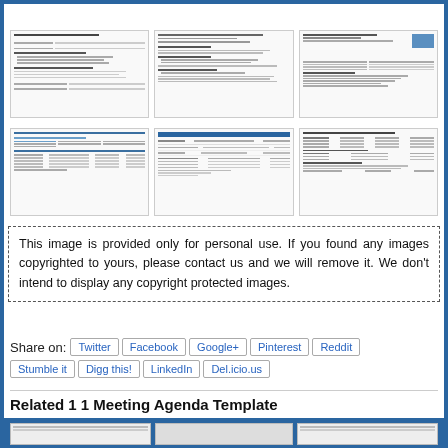[Figure (screenshot): Grid of 6 document thumbnail images showing meeting agenda templates and related forms]
This image is provided only for personal use. If you found any images copyrighted to yours, please contact us and we will remove it. We don't intend to display any copyright protected images.
Share on:
Twitter
Facebook
Google+
Pinterest
Reddit
Stumble it
Digg this!
LinkedIn
Del.icio.us
Related 1 1 Meeting Agenda Template
[Figure (screenshot): Row of three small bottom thumbnail images of related meeting agenda templates]